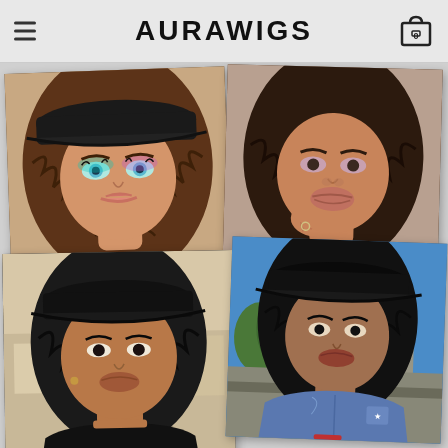AURAWIGS
[Figure (photo): Woman with brown wavy bob wig wearing black baseball cap, teal/purple eye makeup, close-up portrait]
[Figure (photo): Woman with dark brown wavy bob wig, close-up portrait with hand near chin]
[Figure (photo): Woman with dark wavy bob wig wearing black baseball cap and black off-shoulder crop top, outdoor setting]
[Figure (photo): Woman with dark wavy bob wig wearing black baseball cap and blue denim oversized jacket, standing outdoors against blue sky]